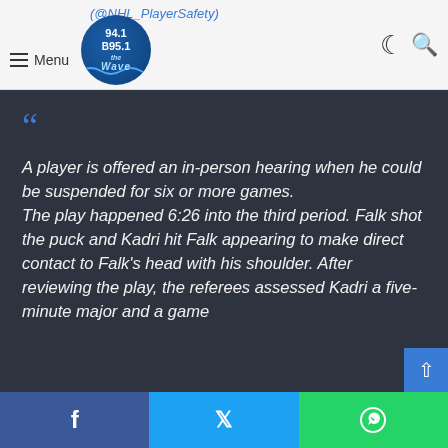(@NHL_PlayerSafety)
A player is offered an in-person hearing when he could be suspended for six or more games. The play happened 6:26 into the third period. Falk shot the puck and Kadri hit Falk appearing to make direct contact to Falk's head with his shoulder. After reviewing the play, the referees assessed Kadri a five-minute major and a game...